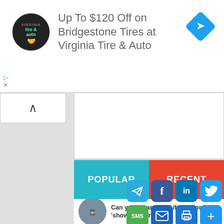[Figure (screenshot): Advertisement banner for Virginia Tire & Auto featuring Bridgestone Tires discount up to $120 off, with company logo and navigation arrow icon]
Up To $120 Off on Bridgestone Tires at Virginia Tire & Auto
[Figure (screenshot): Web page UI with collapse/expand button (chevron up), POPULAR and RECENT tab buttons, article thumbnail with text 'Can you be arrested if you don't show officer identification?', and social sharing icons (Telegram, Facebook, LinkedIn, Twitter, MW, SMS, Email, Print, More)]